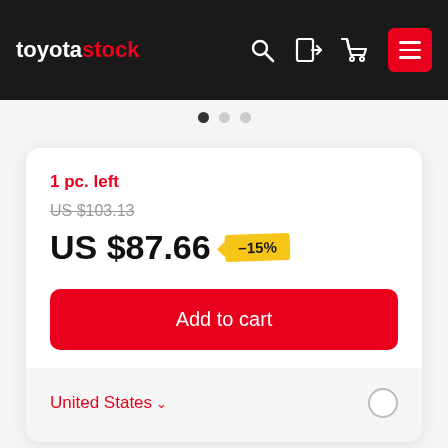toyotastock
1 pc. left
US $103.13
US $87.66 -15%
Add to cart
United States